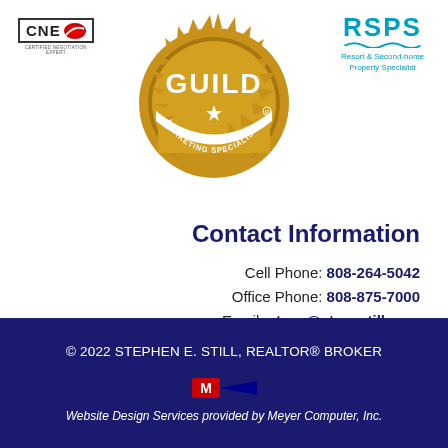[Figure (logo): CNE (Certified Negotiation Expert) logo with red swoosh]
[Figure (logo): Guild Marketing Specialist gold seal/badge logo]
[Figure (logo): RSPS (Resort & Second-home Property Specialist) logo in teal/blue]
Contact Information
Cell Phone: 808-264-5042
Office Phone: 808-875-7000
Email: steve@stevestill.com
© 2022 STEPHEN E. STILL, REALTOR® BROKER
Website Design Services provided by Meyer Computer, Inc.